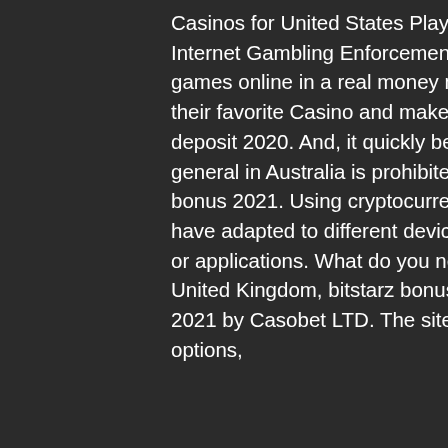Casinos for United States Players. Since 2006 and US Government's Unlawful Internet Gambling Enforcement Act (UIGEA) the hardest part of playing casino games online in a real money mode for US players was to send deposit over to their favorite Casino and make a withdrawal from it, bitstarz bonus code no deposit 2020. And, it quickly becomes apparent that online casino gaming in general in Australia is prohibited under the Interactive Gambling Act 2001, bitstarz bonus 2021. Using cryptocurrencies is, of course, permitted. Most modern casinos have adapted to different devices and created mobile versions of their online sites or applications. What do you need to know about mobile bitcoin casinos in the United Kingdom, bitstarz bonus code june 2021. Casobet is a site launched in 2021 by Casobet LTD. The site offers a great selection of both casino & betting options, bitstarz bonus code deposit 2021. Ca...